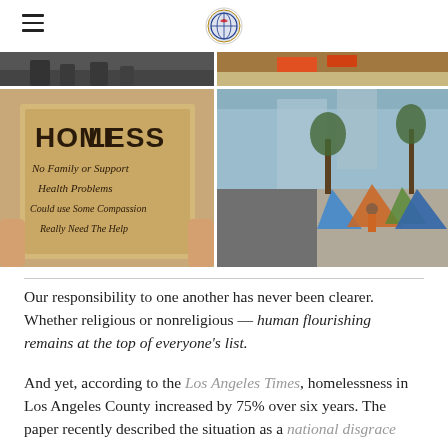[Hamburger menu icon] [Organization logo]
[Figure (photo): Two photos at top: left is a black-and-white photo of people on a street, right is a color photo of a flooded or outdoor scene with orange/red elements]
[Figure (photo): Left: A person holding a cardboard sign reading 'HOMELESS No Family or Support Health Problems Could use Some Compassion Really Need The Help'. Right: A street scene with tents set up along a sidewalk in Los Angeles.]
Our responsibility to one another has never been clearer. Whether religious or nonreligious -- human flourishing remains at the top of everyone's list.
And yet, according to the Los Angeles Times, homelessness in Los Angeles County increased by 75% over six years. The paper recently described the situation as a national disgrace